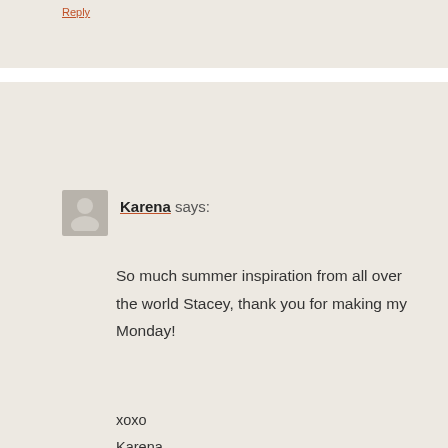Karena says:
So much summer inspiration from all over the world Stacey, thank you for making my Monday!

xoxo
Karena
The Arts by Karena
July 20, 2015 at 11:28
Reply